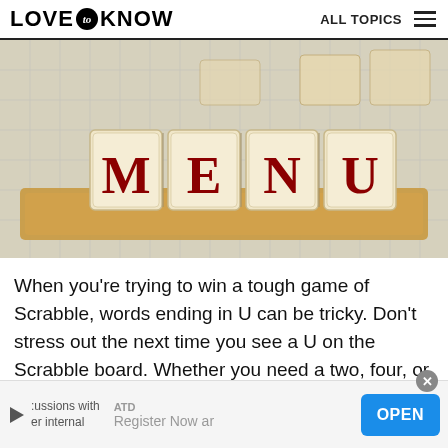LOVE to KNOW  ALL TOPICS
[Figure (photo): Scrabble tiles spelling MENU arranged in a wooden tile holder on a Scrabble board]
When you're trying to win a tough game of Scrabble, words ending in U can be tricky. Don't stress out the next time you see a U on the Scrabble board. Whether you need a two, four, or
ATD  Register Now ar  OPEN